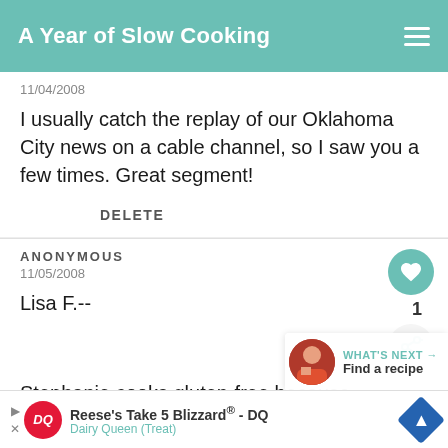A Year of Slow Cooking
11/04/2008
I usually catch the replay of our Oklahoma City news on a cable channel, so I saw you a few times. Great segment!
DELETE
ANONYMOUS
11/05/2008
Lisa F.--
Stephanie cooks gluten-free because someone
WHAT'S NEXT → Find a recipe
Reese's Take 5 Blizzard® - DQ
Dairy Queen (Treat)